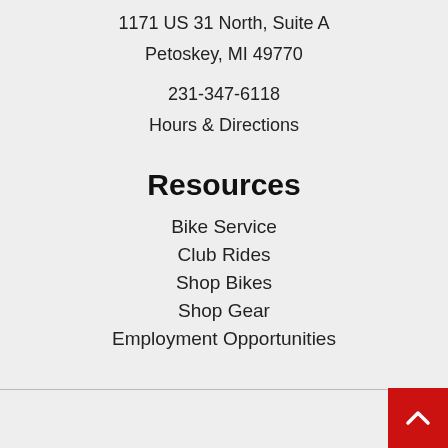1171 US 31 North, Suite A
Petoskey, MI 49770
231-347-6118
Hours & Directions
Resources
Bike Service
Club Rides
Shop Bikes
Shop Gear
Employment Opportunities